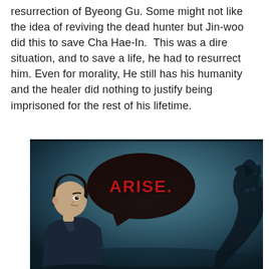resurrection of Byeong Gu. Some might not like the idea of reviving the dead hunter but Jin-woo did this to save Cha Hae-In.  This was a dire situation, and to save a life, he had to resurrect him. Even for morality, He still has his humanity and the healer did nothing to justify being imprisoned for the rest of his lifetime.
[Figure (illustration): Manga panel showing a dark-haired character on the left side facing right, with a speech bubble containing 'ARISE.' in red text on a dark background. A shadowy creature or figure is visible on the right side.]